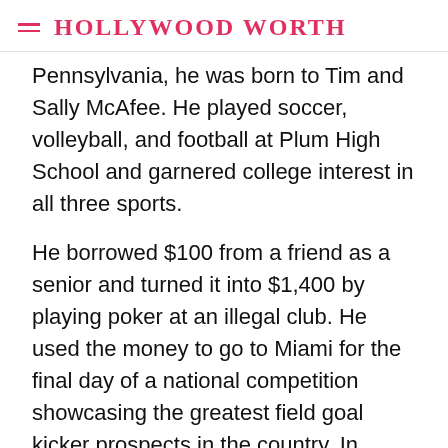HOLLYWOOD WORTH
Pennsylvania, he was born to Tim and Sally McAfee. He played soccer, volleyball, and football at Plum High School and garnered college interest in all three sports.
He borrowed $100 from a friend as a senior and turned it into $1,400 by playing poker at an illegal club. He used the money to go to Miami for the final day of a national competition showcasing the greatest field goal kicker prospects in the country. In 2008, he was selected a first-team All-American while playing college football for West Virginia.
Interesting Facts About Pat